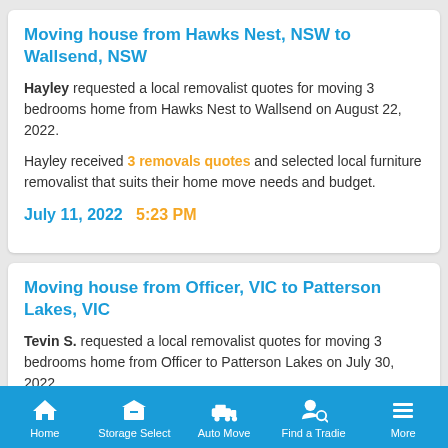Moving house from Hawks Nest, NSW to Wallsend, NSW
Hayley requested a local removalist quotes for moving 3 bedrooms home from Hawks Nest to Wallsend on August 22, 2022.
Hayley received 3 removals quotes and selected local furniture removalist that suits their home move needs and budget.
July 11, 2022   5:23 PM
Moving house from Officer, VIC to Patterson Lakes, VIC
Tevin S. requested a local removalist quotes for moving 3 bedrooms home from Officer to Patterson Lakes on July 30, 2022.
Tevin S. received 4 removals quotes and selected local
Home   Storage Select   Auto Move   Find a Tradie   More